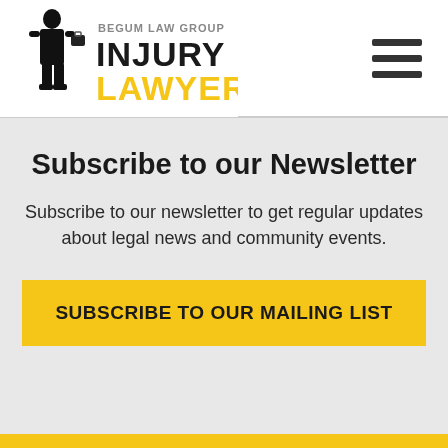[Figure (logo): Begum Law Group Injury Lawyers logo with silhouette of person in suit holding briefcase, text 'BEGUM LAW GROUP' in gray and 'INJURY LAWYERS' in yellow/black]
Subscribe to our Newsletter
Subscribe to our newsletter to get regular updates about legal news and community events.
SUBSCRIBE TO OUR MAILING LIST